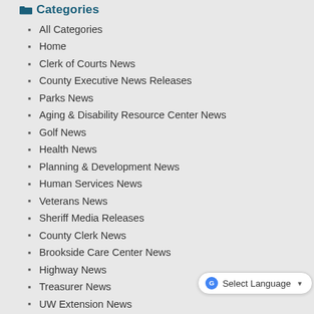Categories
All Categories
Home
Clerk of Courts News
County Executive News Releases
Parks News
Aging & Disability Resource Center News
Golf News
Health News
Planning & Development News
Human Services News
Veterans News
Sheriff Media Releases
County Clerk News
Brookside Care Center News
Highway News
Treasurer News
UW Extension News
Personnel News
Children and Family Services
Medical Examiner's Office
Emergency Management